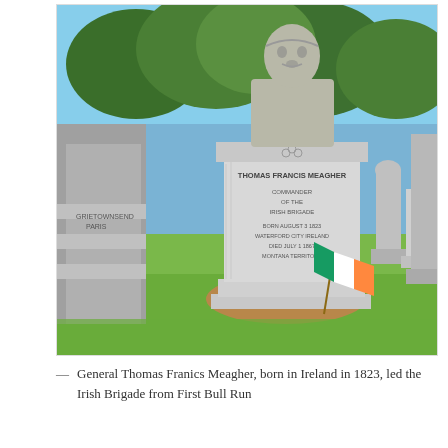[Figure (photo): Outdoor cemetery photo showing a granite monument with a bust sculpture on top. The monument has an inscription reading 'THOMAS FRANCIS MEAGHER, COMMANDER OF THE IRISH BRIGADE, BORN AUGUST 3 1823, WATERFORD CITY IRELAND, DIED JULY 1 1867, MONTANA TERRITORY'. A small Irish tricolor flag (green, white, orange) leans against the base. Other gravestones and trees are visible in the background.]
— General Thomas Franics Meagher, born in Ireland in 1823, led the Irish Brigade from First Bull Run